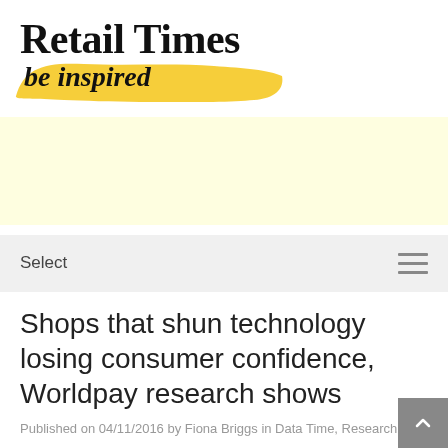Retail Times
be inspired
[Figure (other): Yellow advertisement banner (empty/placeholder)]
Select
Shops that shun technology losing consumer confidence, Worldpay research shows
Published on 04/11/2016 by Fiona Briggs in Data Time, Research